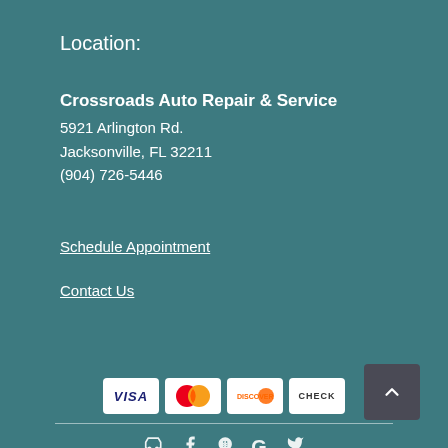Location:
Crossroads Auto Repair & Service
5921 Arlington Rd.
Jacksonville, FL 32211
(904) 726-5446
Schedule Appointment
Contact Us
[Figure (other): Payment method icons: Visa, Mastercard, Discover, Check]
[Figure (other): Social media icons: car-related icon, Facebook, Yelp, Google, Twitter]